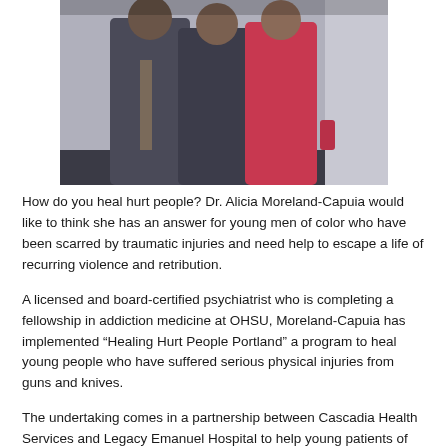[Figure (photo): Photograph of three people, two wearing dark jackets and one wearing a bright pink/red outfit, standing together outdoors near a light-colored wall.]
How do you heal hurt people? Dr. Alicia Moreland-Capuia would like to think she has an answer for young men of color who have been scarred by traumatic injuries and need help to escape a life of recurring violence and retribution.
A licensed and board-certified psychiatrist who is completing a fellowship in addiction medicine at OHSU, Moreland-Capuia has implemented “Healing Hurt People Portland” a program to heal young people who have suffered serious physical injuries from guns and knives.
The undertaking comes in a partnership between Cascadia Health Services and Legacy Emanuel Hospital to help young patients of color break a cycle of violence with an interdiction team that includes a social worker, doctor and other support.
Capuia, 32, an African American who graduated from Jefferson High School, says the saw the need to bring more diversity into the